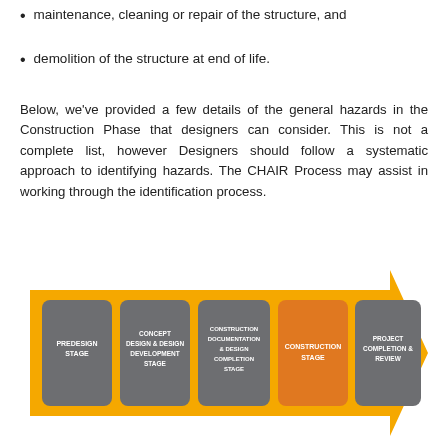maintenance, cleaning or repair of the structure, and
demolition of the structure at end of life.
Below, we've provided a few details of the general hazards in the Construction Phase that designers can consider. This is not a complete list, however Designers should follow a systematic approach to identifying hazards. The CHAIR Process may assist in working through the identification process.
[Figure (infographic): A process flow diagram showing five stages as rounded rectangles inside a large yellow arrow pointing right. The stages from left to right are: PREDESIGN STAGE (grey), CONCEPT DESIGN & DESIGN DEVELOPMENT STAGE (grey), CONSTRUCTION DOCUMENTATION & DESIGN COMPLETION STAGE (grey), CONSTRUCTION STAGE (orange/highlighted), PROJECT COMPLETION & REVIEW (grey).]